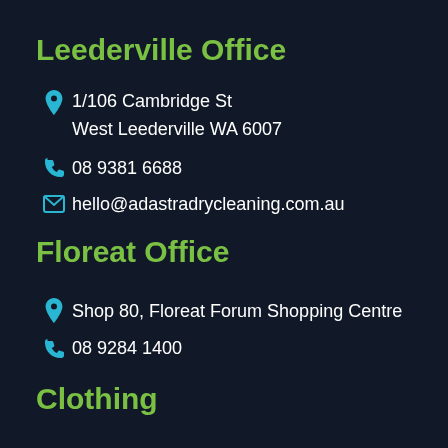Leederville Office
1/106 Cambridge St
West Leederville WA 6007
08 9381 6688
hello@adastradrycleaning.com.au
Floreat Office
Shop 80, Floreat Forum Shopping Centre
08 9284 1400
Clothing